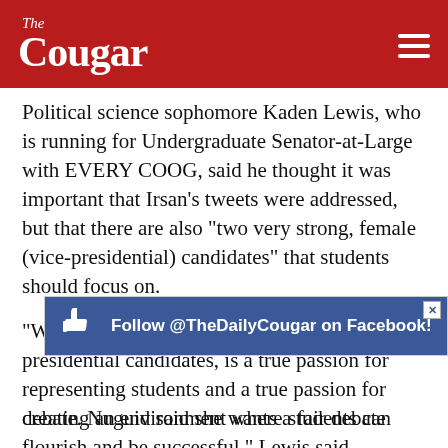The Cougar
Political science sophomore Kaden Lewis, who is running for Undergraduate Senator-at-Large with EVERY COOG, said he thought it was important that Irsan’s tweets were addressed, but that there are also “two very strong, female (vice-presidential) candidates” that students should focus on.
“What I do hope to see, at least from the three presidential candidates, is a true passion for representing students and a true passion for creating an environment where students can flourish and be successful,” Lewis said regarding expectations for the presidential debate.
[Figure (infographic): Blue Facebook ad banner reading 'Follow @TheDailyCougar on Facebook!' with a thumbs-up icon and a close button]
debate. Nuguid said she wants a fair debate